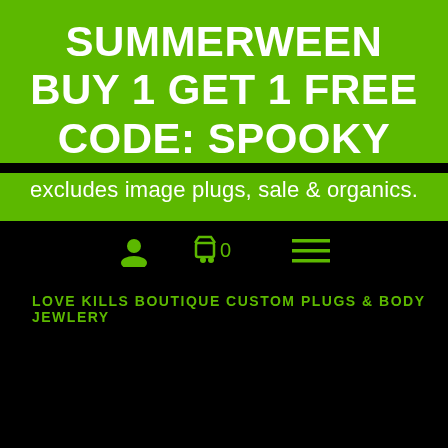SUMMERWEEN BUY 1 GET 1 FREE CODE: SPOOKY
excludes image plugs, sale & organics.
[Figure (screenshot): Navigation bar with user icon, cart icon showing 0, and hamburger menu icon in green on black background]
LOVE KILLS BOUTIQUE CUSTOM PLUGS & BODY JEWLERY